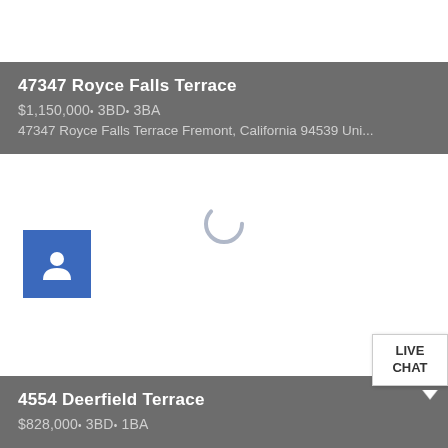47347 Royce Falls Terrace
$1,150,000• 3BD• 3BA
47347 Royce Falls Terrace Fremont, California 94539 Uni...
[Figure (illustration): Blue square button with white person/agent icon]
[Figure (illustration): Loading spinner circle in center of page]
4554 Deerfield Terrace
$828,000• 3BD• 1BA
[Figure (illustration): Live Chat button in bottom right corner]